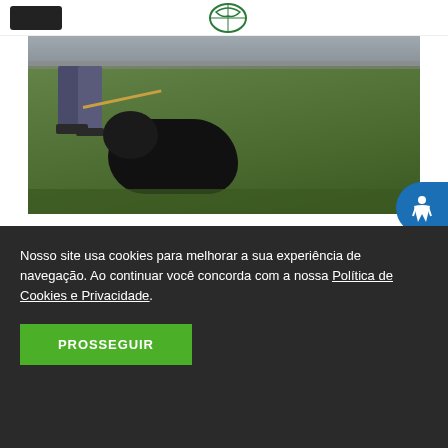[Navigation header with hamburger menu and logo]
[Figure (photo): Outdoor photo of a black dog being held on grass by a person wearing dark pants, with a rope/leash visible. Green grass background.]
Começa a campanha de vacinação contra raiva em cães e gatos
Saúde • Por Prefeitura de Santa Vitória-MG • 13/07/2017
[Figure (photo): Partial view of a second photo strip with dark/mechanical elements]
Nosso site usa cookies para melhorar a sua experiência de navegação. Ao continuar você concorda com a nossa Política de Cookies e Privacidade.
PROSSEGUIR